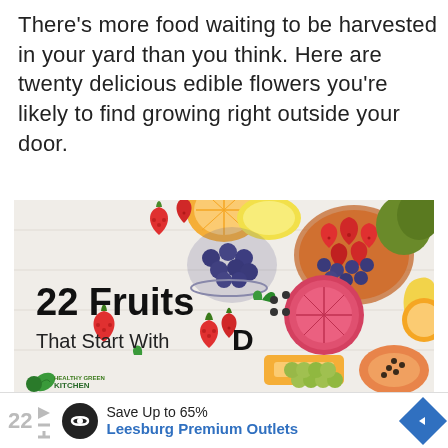There's more food waiting to be harvested in your yard than you think. Here are twenty delicious edible flowers you're likely to find growing right outside your door.
[Figure (illustration): Infographic image showing various colorful fruits (strawberries, blueberries, grapefruit, mango, papaya, grapes, kiwi, bananas, oranges, lemons) arranged on a white surface. Text overlay reads '22 Fruits That Start With D' with a Healthy Green Kitchen logo in the bottom left.]
22 Save Up to 65% Leesburg Premium Outlets